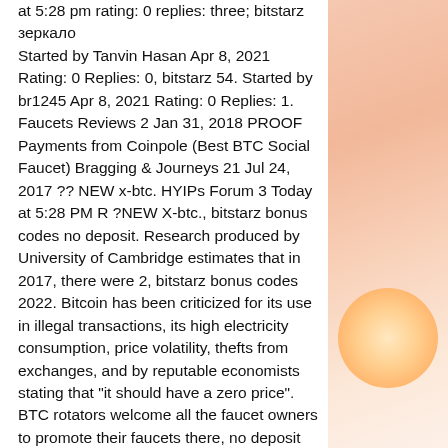at 5:28 pm rating: 0 replies: three; bitstarz зеркало Started by Tanvin Hasan Apr 8, 2021 Rating: 0 Replies: 0, bitstarz 54. Started by br1245 Apr 8, 2021 Rating: 0 Replies: 1. Faucets Reviews 2 Jan 31, 2018 PROOF Payments from Coinpole (Best BTC Social Faucet) Bragging & Journeys 21 Jul 24, 2017 ?? NEW x-btc. HYIPs Forum 3 Today at 5:28 PM R ?NEW X-btc., bitstarz bonus codes no deposit. Research produced by University of Cambridge estimates that in 2017, there were 2, bitstarz bonus codes 2022. Bitcoin has been criticized for its use in illegal transactions, its high electricity consumption, price volatility, thefts from exchanges, and by reputable economists stating that "it should have a zero price". BTC rotators welcome all the faucet owners to promote their faucets there, no deposit bitstarz. For bitcoin enthusiasts who want to earn a passive income starting your own faucet rotator may
[Figure (illustration): Soft peach/salmon gradient background on the right side of the page with a warm glowing orb effect near the bottom right]